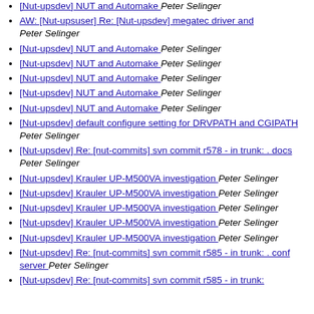[Nut-upsdev] NUT and Automake  Peter Selinger
AW: [Nut-upsuser] Re: [Nut-upsdev] megatec driver and  Peter Selinger
[Nut-upsdev] NUT and Automake  Peter Selinger
[Nut-upsdev] NUT and Automake  Peter Selinger
[Nut-upsdev] NUT and Automake  Peter Selinger
[Nut-upsdev] NUT and Automake  Peter Selinger
[Nut-upsdev] NUT and Automake  Peter Selinger
[Nut-upsdev] default configure setting for DRVPATH and CGIPATH  Peter Selinger
[Nut-upsdev] Re: [nut-commits] svn commit r578 - in trunk: . docs  Peter Selinger
[Nut-upsdev] Krauler UP-M500VA investigation  Peter Selinger
[Nut-upsdev] Krauler UP-M500VA investigation  Peter Selinger
[Nut-upsdev] Krauler UP-M500VA investigation  Peter Selinger
[Nut-upsdev] Krauler UP-M500VA investigation  Peter Selinger
[Nut-upsdev] Krauler UP-M500VA investigation  Peter Selinger
[Nut-upsdev] Re: [nut-commits] svn commit r585 - in trunk: . conf server  Peter Selinger
[Nut-upsdev] Re: [nut-commits] svn commit r585 - in trunk: